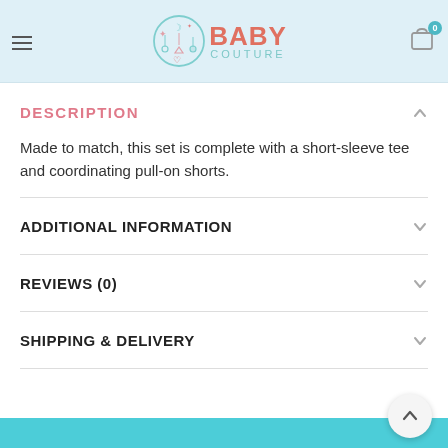Baby Couture — navigation header with logo, hamburger menu, and cart icon
DESCRIPTION
Made to match, this set is complete with a short-sleeve tee and coordinating pull-on shorts.
ADDITIONAL INFORMATION
REVIEWS (0)
SHIPPING & DELIVERY